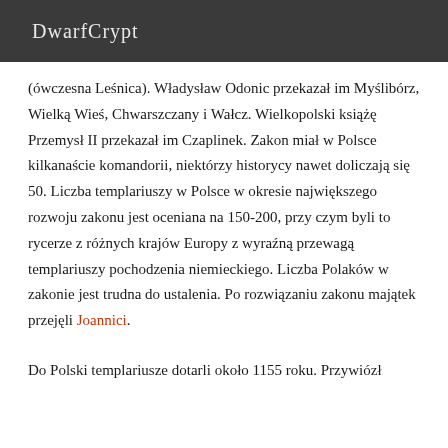DwarfCrypt
(ówczesna Leśnica). Władysław Odonic przekazał im Myślibórz, Wielką Wieś, Chwarszczany i Wałcz. Wielkopolski książę Przemysł II przekazał im Czaplinek. Zakon miał w Polsce kilkanaście komandorii, niektórzy historycy nawet doliczają się 50. Liczba templariuszy w Polsce w okresie największego rozwoju zakonu jest oceniana na 150-200, przy czym byli to rycerze z różnych krajów Europy z wyraźną przewagą templariuszy pochodzenia niemieckiego. Liczba Polaków w zakonie jest trudna do ustalenia. Po rozwiązaniu zakonu majątek przejęli Joannici.
Do Polski templariusze dotarli około 1155 roku. Przywiózł